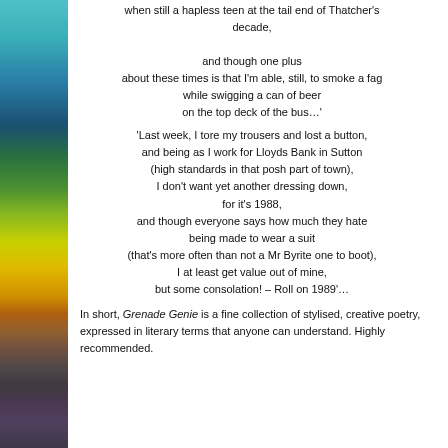when still a hapless teen at the tail end of Thatcher's decade, and though one plus about these times is that I'm able, still, to smoke a fag while swigging a can of beer on the top deck of the bus…'
'Last week, I tore my trousers and lost a button, and being as I work for Lloyds Bank in Sutton (high standards in that posh part of town), I don't want yet another dressing down, for it's 1988, and though everyone says how much they hate being made to wear a suit (that's more often than not a Mr Byrite one to boot), I at least get value out of mine, but some consolation! – Roll on 1989'…
In short, Grenade Genie is a fine collection of stylised, creative poetry, expressed in literary terms that anyone can understand. Highly recommended.